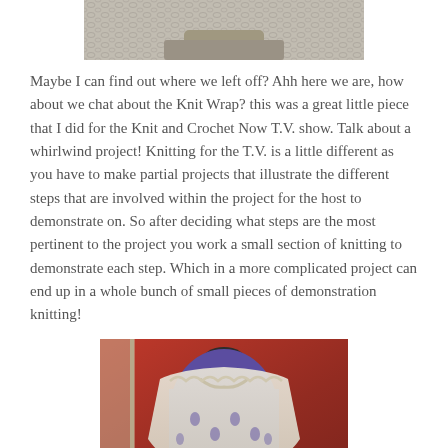[Figure (photo): Partial top image of a knitted item, showing textured knit fabric, cropped at top of page]
Maybe I can find out where we left off? Ahh here we are, how about we chat about the Knit Wrap? this was a great little piece that I did for the Knit and Crochet Now T.V. show. Talk about a whirlwind project! Knitting for the T.V. is a little different as you have to make partial projects that illustrate the different steps that are involved within the project for the host to demonstrate on. So after deciding what steps are the most pertinent to the project you work a small section of knitting to demonstrate each step. Which in a more complicated project can end up in a whole bunch of small pieces of demonstration knitting!
[Figure (photo): A cream/white knitted wrap/shawl displayed on a dark blue dress form mannequin against a red/burgundy background]